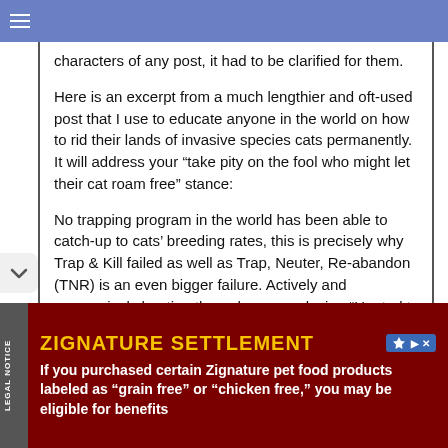characters of any post, it had to be clarified for them.
Here is an excerpt from a much lengthier and oft-used post that I use to educate anyone in the world on how to rid their lands of invasive species cats permanently. It will address your “take pity on the fool who might let their cat roam free” stance:
No trapping program in the world has been able to catch-up to cats’ breeding rates, this is precisely why Trap & Kill failed as well as Trap, Neuter, Re-abandon (TNR) is an even bigger failure. Actively and aggressively hunting them down, employing “Hunted to Extinction” methods, is the ONLY way to get ahead of and stay ahead of cats’ breeding rates, their ability to out-adapt to any trapping method used, and also the rates at which criminally-
[Figure (other): Advertisement banner for Zignature Settlement. Dark red background with yellow bold title 'ZIGNATURE SETTLEMENT' and white body text: 'If you purchased certain Zignature pet food products labeled as "grain free" or "chicken free," you may be eligible for benefits'. Has 'LEGAL NOTICE' vertical side label and an ad badge icon.]